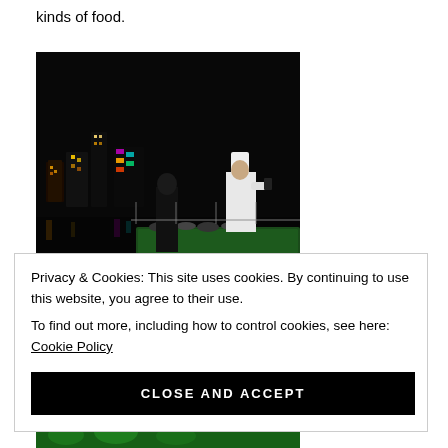kinds of food.
[Figure (photo): Night scene photo of a rooftop or waterfront event with a chef in white hat and jacket standing at a buffet table, city lights and waterfront visible in background]
Privacy & Cookies: This site uses cookies. By continuing to use this website, you agree to their use.
To find out more, including how to control cookies, see here: Cookie Policy
CLOSE AND ACCEPT
[Figure (photo): Bottom portion of another food/event photo visible at very bottom of page]